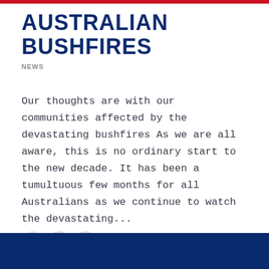AUSTRALIAN BUSHFIRES
NEWS
Our thoughts are with our communities affected by the devastating bushfires As we are all aware, this is no ordinary start to the new decade. It has been a tumultuous few months for all Australians as we continue to watch the devastating...
Page 1 of 3